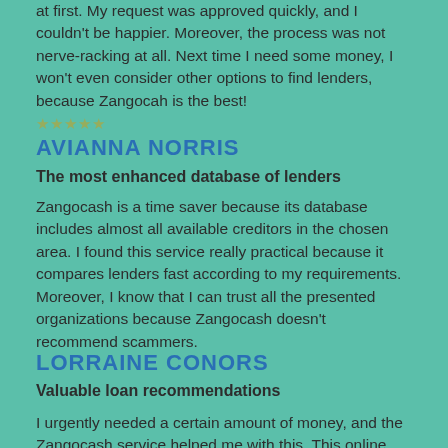at first. My request was approved quickly, and I couldn't be happier. Moreover, the process was not nerve-racking at all. Next time I need some money, I won't even consider other options to find lenders, because Zangocah is the best!
★★★★★
AVIANNA NORRIS
The most enhanced database of lenders
Zangocash is a time saver because its database includes almost all available creditors in the chosen area. I found this service really practical because it compares lenders fast according to my requirements. Moreover, I know that I can trust all the presented organizations because Zangocash doesn't recommend scammers.
LORRAINE CONORS
Valuable loan recommendations
I urgently needed a certain amount of money, and the Zangocash service helped me with this. This online service is